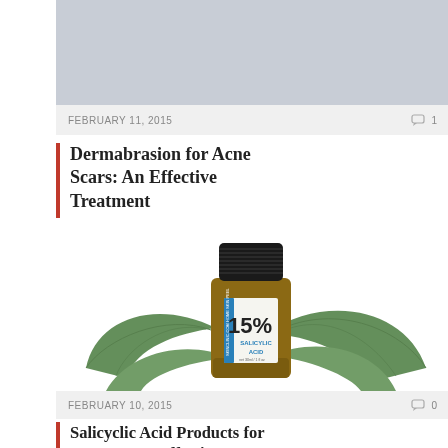[Figure (photo): Gray placeholder image for a medical/skincare blog post thumbnail]
FEBRUARY 11, 2015   1
Dermabrasion for Acne Scars: An Effective Treatment
[Figure (photo): Product photo of a small amber glass bottle with black cap labeled '15% Salicylic Acid Home Skin Peel' with green leaves in background]
FEBRUARY 10, 2015   0
Salicyclic Acid Products for Acne Scars: Effective or Not?